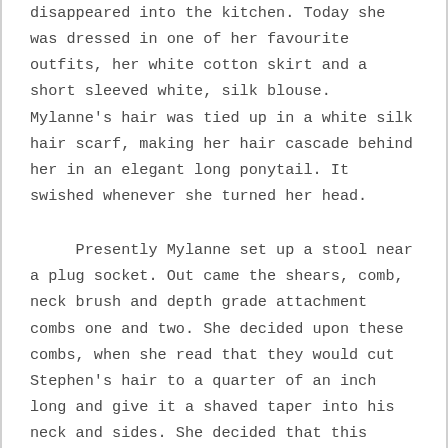disappeared into the kitchen. Today she was dressed in one of her favourite outfits, her white cotton skirt and a short sleeved white, silk blouse. Mylanne's hair was tied up in a white silk hair scarf, making her hair cascade behind her in an elegant long ponytail. It swished whenever she turned her head.
&nbsp;&nbsp;&nbsp;&nbsp; Presently Mylanne set up a stool near a plug socket. Out came the shears, comb, neck brush and depth grade attachment combs one and two. She decided upon these combs, when she read that they would cut Stephen's hair to a quarter of an inch long and give it a shaved taper into his neck and sides. She decided that this would be short enough! She plugged in the shears and switched on and off a few times. She smiled as the